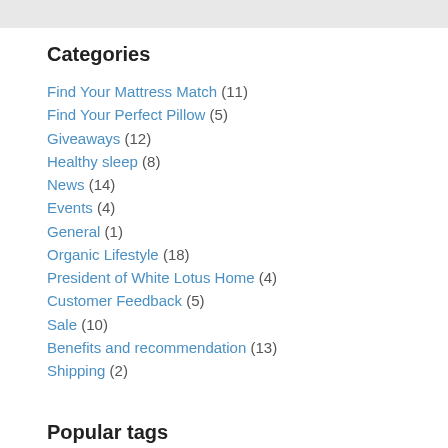Categories
Find Your Mattress Match (11)
Find Your Perfect Pillow (5)
Giveaways (12)
Healthy sleep (8)
News (14)
Events (4)
General (1)
Organic Lifestyle (18)
President of White Lotus Home (4)
Customer Feedback (5)
Sale (10)
Benefits and recommendation (13)
Shipping (2)
Popular tags